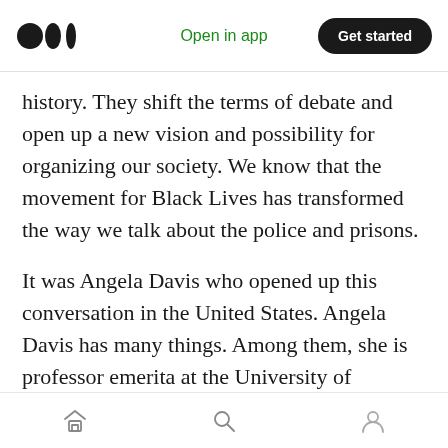Medium logo | Open in app | Get started
history. They shift the terms of debate and open up a new vision and possibility for organizing our society. We know that the movement for Black Lives has transformed the way we talk about the police and prisons.
It was Angela Davis who opened up this conversation in the United States. Angela Davis has many things. Among them, she is professor emerita at the University of California at Santa Cruz.
Professor Angela Davis, welcome to this press
Home | Search | Profile